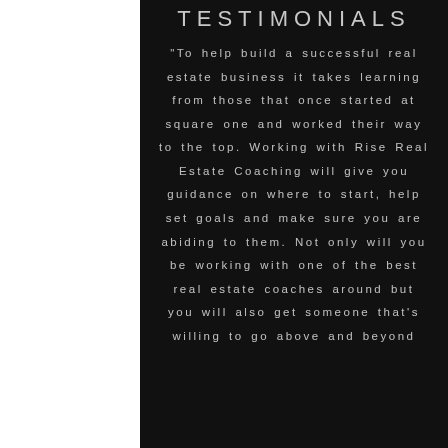TESTIMONIALS
“To help build a successful real estate business it takes learning from those that once started at square one and worked their way to the top. Working with Rise Real Estate Coaching will give you guidance on where to start, help set goals and make sure you are abiding to them. Not only will you be working with one of the best real estate coaches around but you will also get someone that’s willing to go above and beyond